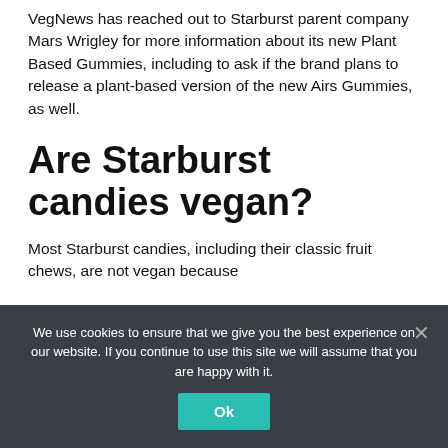VegNews has reached out to Starburst parent company Mars Wrigley for more information about its new Plant Based Gummies, including to ask if the brand plans to release a plant-based version of the new Airs Gummies, as well.
Are Starburst candies vegan?
Most Starburst candies, including their classic fruit chews, are not vegan because
We use cookies to ensure that we give you the best experience on our website. If you continue to use this site we will assume that you are happy with it.